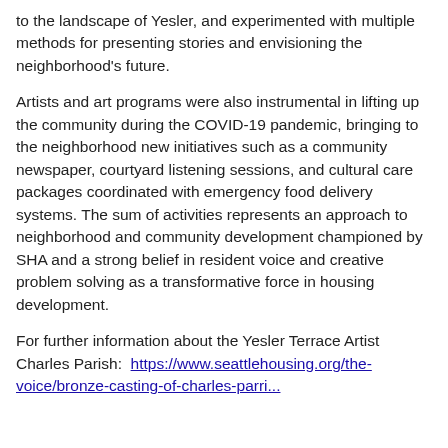to the landscape of Yesler, and experimented with multiple methods for presenting stories and envisioning the neighborhood's future.
Artists and art programs were also instrumental in lifting up the community during the COVID-19 pandemic, bringing to the neighborhood new initiatives such as a community newspaper, courtyard listening sessions, and cultural care packages coordinated with emergency food delivery systems. The sum of activities represents an approach to neighborhood and community development championed by SHA and a strong belief in resident voice and creative problem solving as a transformative force in housing development.
For further information about the Yesler Terrace Artist Charles Parish:  https://www.seattlehousing.org/the-voice/bronze-casting-of-charles-parri...